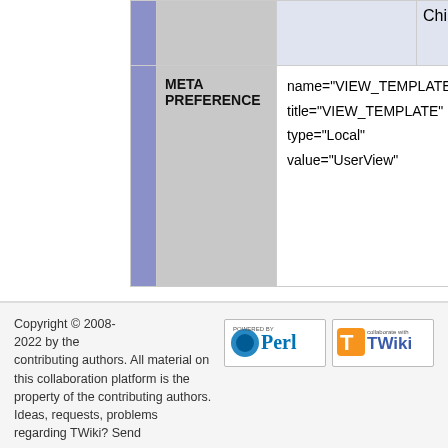|  | Type | Content | Changed |
| --- | --- | --- | --- |
|  |  |  | Chi |
|  | META PREFERENCE | name="VIEW_TEMPLATE"
title="VIEW_TEMPLATE"
type="Local"
value="UserView" |  |
View topic | History: r1 | More topic actions...
Copyright © 2008-2022 by the contributing authors. All material on this collaboration platform is the property of the contributing authors. Ideas, requests, problems regarding TWiki? Send